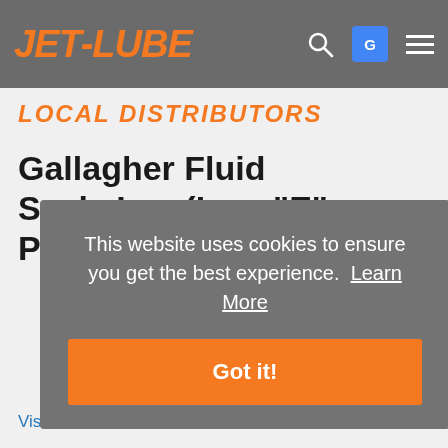JET-LUBE
LOCAL DISTRIBUTORS
Gallagher Fluid Seals Inc. (Low "E" Product Distributor)
This website uses cookies to ensure you get the best experience.  Learn More
Got it!
Visit Website